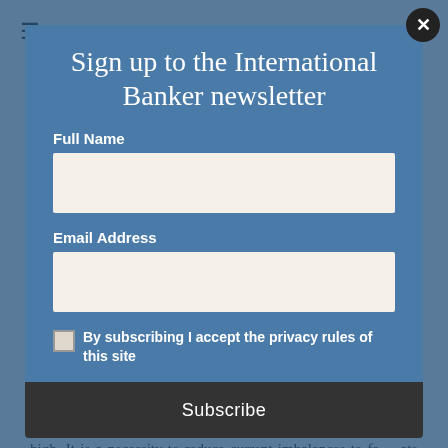[Figure (screenshot): Newsletter sign-up modal overlay on top of an article page from International Banker. The modal has a blue background with fields for Full Name and Email Address, a privacy policy checkbox, and a Subscribe button.]
Sign up to the International Banker newsletter
Full Name
Email Address
By subscribing I accept the privacy rules of this site
Subscribe